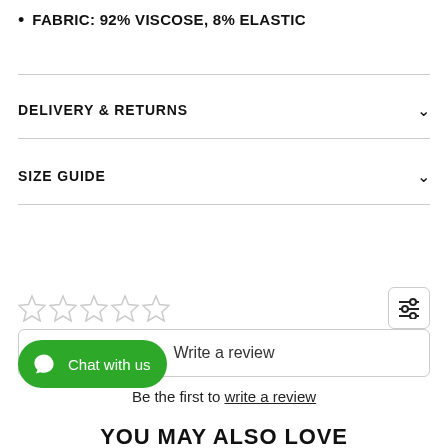FABRIC: 92% VISCOSE, 8% ELASTIC
DELIVERY & RETURNS
SIZE GUIDE
[Figure (other): Five empty star rating icons in a row, with a filter/settings icon button on the right]
Write a review
Be the first to write a review
Chat with us
YOU MAY ALSO LOVE